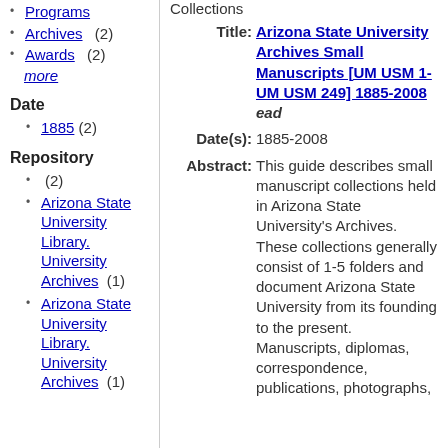Programs
Archives (2)
Awards (2)
more
Date
1885 (2)
Repository
(2)
Arizona State University Library. University Archives (1)
Arizona State University Library. University Archives (1)
Collections
| Label | Value |
| --- | --- |
| Title: | Arizona State University Archives Small Manuscripts [UM USM 1-UM USM 249] 1885-2008 ead |
| Date(s): | 1885-2008 |
| Abstract: | This guide describes small manuscript collections held in Arizona State University's Archives. These collections generally consist of 1-5 folders and document Arizona State University from its founding to the present. Manuscripts, diplomas, correspondence, publications, photographs, |